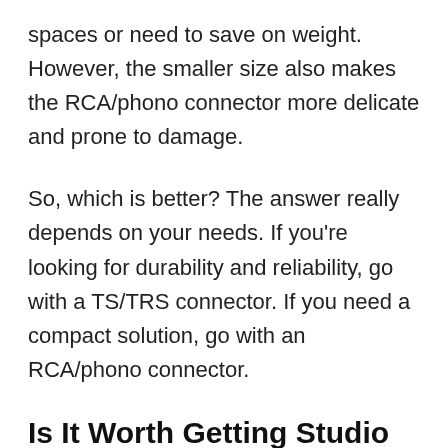spaces or need to save on weight. However, the smaller size also makes the RCA/phono connector more delicate and prone to damage.
So, which is better? The answer really depends on your needs. If you’re looking for durability and reliability, go with a TS/TRS connector. If you need a compact solution, go with an RCA/phono connector.
Is It Worth Getting Studio Monitors?
When recording, mixing, or mastering audio, it is recommended that studio monitors be utilised